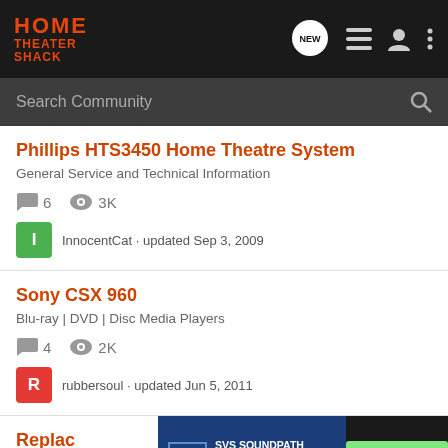HOME THEATER SHACK
Search Community
Phillips HTS3450 Home Theatre System
General Service and Technical Information
6 replies · 3K views · InnocentCat · updated Sep 3, 2009
Sony CSX 960
Blu-ray | DVD | Disc Media Players
4 replies · 2K views · rubbersoul · updated Jun 5, 2011
Replac…
[Figure (photo): SVS Soundpath Audio Accessories advertisement banner with Learn More button]